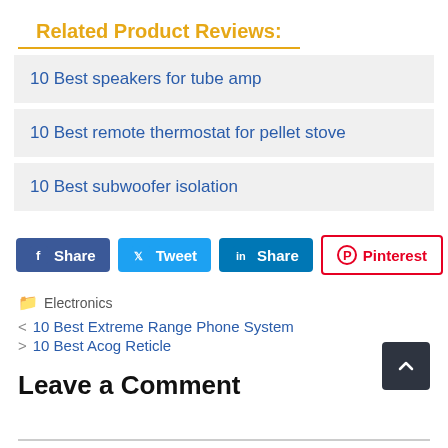Related Product Reviews:
10 Best speakers for tube amp
10 Best remote thermostat for pellet stove
10 Best subwoofer isolation
[Figure (infographic): Social share buttons: Facebook Share, Twitter Tweet, LinkedIn Share, Pinterest, Reddit]
Electronics
< 10 Best Extreme Range Phone System
> 10 Best Acog Reticle
Leave a Comment